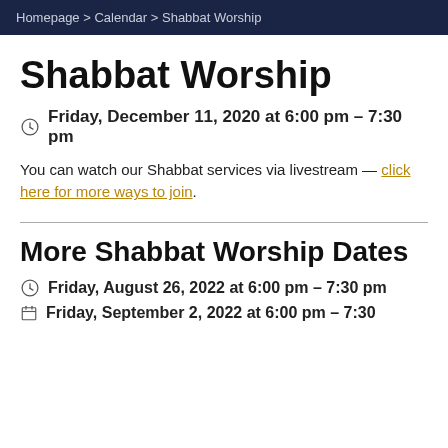Homepage > Calendar > Shabbat Worship
Shabbat Worship
Friday, December 11, 2020 at 6:00 pm – 7:30 pm
You can watch our Shabbat services via livestream — click here for more ways to join.
More Shabbat Worship Dates
Friday, August 26, 2022 at 6:00 pm – 7:30 pm
Friday, September 2, 2022 at 6:00 pm – 7:30 pm